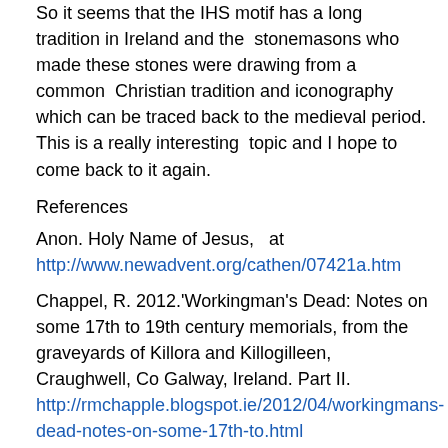So it seems that the IHS motif has a long tradition in Ireland and the stonemasons who made these stones were drawing from a common Christian tradition and iconography which can be traced back to the medieval period. This is a really interesting topic and I hope to come back to it again.
References
Anon. Holy Name of Jesus, at http://www.newadvent.org/cathen/07421a.htm
Chappel, R. 2012.'Workingman's Dead: Notes on some 17th to 19th century memorials, from the graveyards of Killora and Killogilleen, Craughwell, Co Galway, Ireland. Part II. http://rmchapple.blogspot.ie/2012/04/workingmans-dead-notes-on-some-17th-to.html